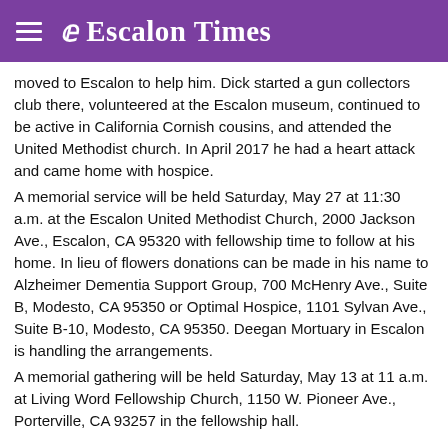Escalon Times
moved to Escalon to help him. Dick started a gun collectors club there, volunteered at the Escalon museum, continued to be active in California Cornish cousins, and attended the United Methodist church. In April 2017 he had a heart attack and came home with hospice.
A memorial service will be held Saturday, May 27 at 11:30 a.m. at the Escalon United Methodist Church, 2000 Jackson Ave., Escalon, CA 95320 with fellowship time to follow at his home. In lieu of flowers donations can be made in his name to Alzheimer Dementia Support Group, 700 McHenry Ave., Suite B, Modesto, CA 95350 or Optimal Hospice, 1101 Sylvan Ave., Suite B-10, Modesto, CA 95350. Deegan Mortuary in Escalon is handling the arrangements.
A memorial gathering will be held Saturday, May 13 at 11 a.m. at Living Word Fellowship Church, 1150 W. Pioneer Ave., Porterville, CA 93257 in the fellowship hall.